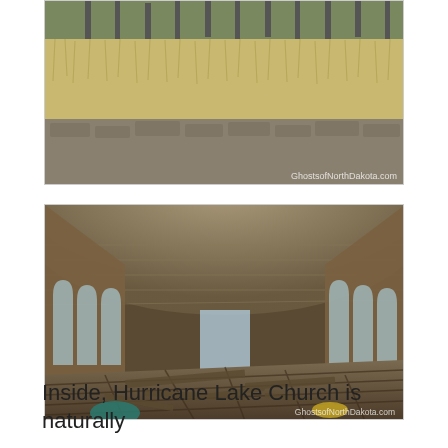[Figure (photo): Partial view of a grassy overgrown exterior foundation or base of a building, with dry tan grass visible. A watermark reading GhostsofNorthDakota.com appears in the lower right.]
[Figure (photo): Interior of the abandoned Hurricane Lake Church showing a barrel-vaulted stone ceiling, arched Gothic-style windows on both sides, worn wooden plank floor with debris and scattered lumber, looking toward the far end of the nave. Watermark reads GhostsofNorthDakota.com.]
Inside, Hurricane Lake Church is naturally